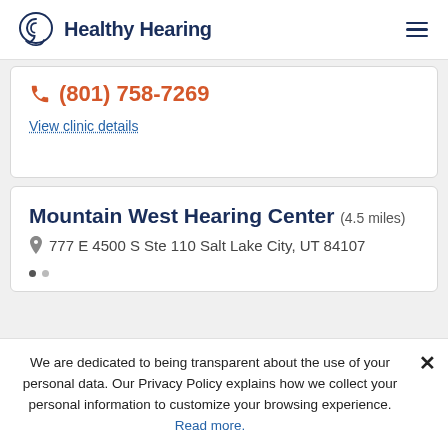Healthy Hearing
(801) 758-7269
View clinic details
Mountain West Hearing Center (4.5 miles)
777 E 4500 S Ste 110 Salt Lake City, UT 84107
We are dedicated to being transparent about the use of your personal data. Our Privacy Policy explains how we collect your personal information to customize your browsing experience. Read more.